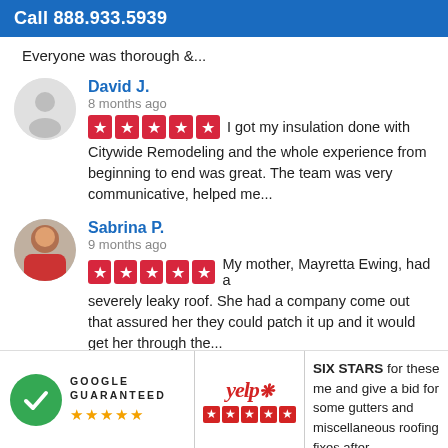Call 888.933.5939
Everyone was thorough &...
David J.
8 months ago
I got my insulation done with Citywide Remodeling and the whole experience from beginning to end was great. The team was very communicative, helped me...
Sabrina P.
9 months ago
My mother, Mayretta Ewing, had a severely leaky roof. She had a company come out that assured her they could patch it up and it would get her through the...
Oren D.
[Figure (logo): Google Guaranteed badge with green checkmark and five orange stars]
[Figure (logo): Yelp logo with five red star rating boxes]
SIX STARS for these... me and give a bid for some gutters and miscellaneous roofing fixes after